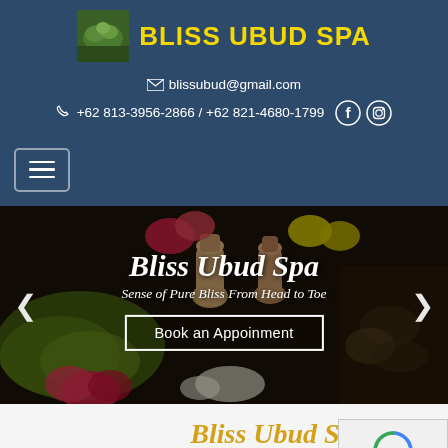BLISS UBUD SPA
✉ blissubud@gmail.com
☎ +62 813-3956-2866 / +62 821-4680-1799
[Figure (screenshot): Navigation menu hamburger button with three horizontal lines]
[Figure (photo): Hero banner showing spa products including massage oil bottles, flowers, turmeric paste and tropical ingredients on dark background]
Bliss Ubud Spa
Sense of Pure Bliss From Head to Toe
Book an Appoinment
Bliss Ubud Spa
Sense of Pure Bliss From Head to Toe
(Located amidst rice fields)